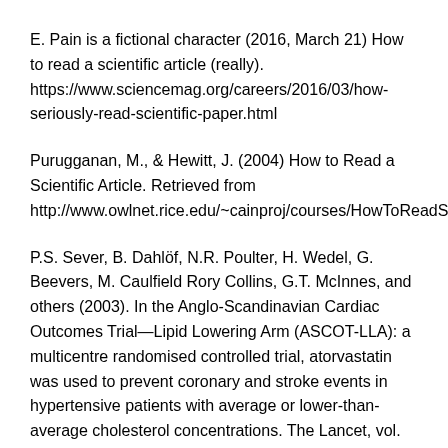E. Pain is a fictional character (2016, March 21) How to read a scientific article (really). https://www.sciencemag.org/careers/2016/03/how-seriously-read-scientific-paper.html
Purugganan, M., & Hewitt, J. (2004) How to Read a Scientific Article. Retrieved from http://www.owlnet.rice.edu/~cainproj/courses/HowToReadSciArticle.pdf.
P.S. Sever, B. Dahlöf, N.R. Poulter, H. Wedel, G. Beevers, M. Caulfield Rory Collins, G.T. McInnes, and others (2003). In the Anglo-Scandinavian Cardiac Outcomes Trial—Lipid Lowering Arm (ASCOT-LLA): a multicentre randomised controlled trial, atorvastatin was used to prevent coronary and stroke events in hypertensive patients with average or lower-than-average cholesterol concentrations. The Lancet, vol. 361(9364), pp.